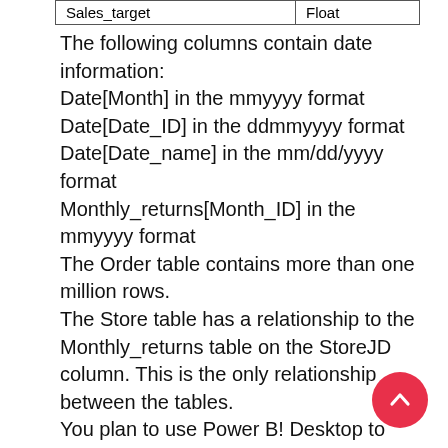| Sales_target | Float |
| --- | --- |
The following columns contain date information:
Date[Month] in the mmyyyy format
Date[Date_ID] in the ddmmyyyy format
Date[Date_name] in the mm/dd/yyyy format
Monthly_returns[Month_ID] in the mmyyyy format
The Order table contains more than one million rows.
The Store table has a relationship to the Monthly_returns table on the StoreJD column. This is the only relationship between the tables.
You plan to use Power B! Desktop to create an analytics solution for the data.
End of repeated scenario.
You need to create a chart that displays a sum of Order[Order_amount] by month for the Order_ship_date column and